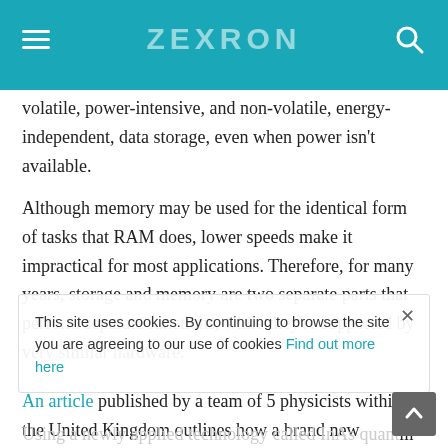ZEXRON
volatile, power-intensive, and non-volatile, energy-independent, data storage, even when power isn't available.
Although memory may be used for the identical form of tasks that RAM does, lower speeds make it impractical for most applications. Therefore, for many years, storage and memory are two separate parts that perform separate functions, while they're supported by very similar hardware.
An article published by a team of 5 physicists within the United Kingdom outlines how a brand new generation of memory might be created that is totally independent and dense enough to handle both non-volatile storage and random access tasks.
Using a newly applied technology called InAs quantum wells
This site uses cookies. By continuing to browse the site you are agreeing to our use of cookies Find out more here